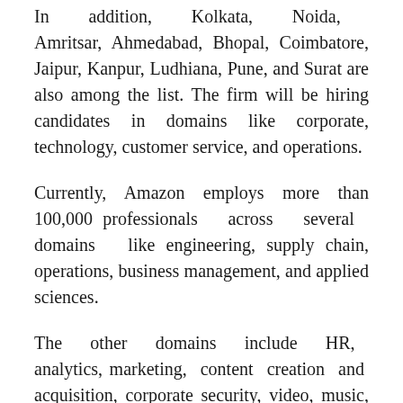In addition, Kolkata, Noida, Amritsar, Ahmedabad, Bhopal, Coimbatore, Jaipur, Kanpur, Ludhiana, Pune, and Surat are also among the list. The firm will be hiring candidates in domains like corporate, technology, customer service, and operations.
Currently, Amazon employs more than 100,000 professionals across several domains like engineering, supply chain, operations, business management, and applied sciences.
The other domains include HR, analytics, marketing, content creation and acquisition, corporate security, video, music, real estate, and finance.
Deepti Varma, HR Leader, Corporate, Amazon APAC & MENA, said in an interview that the firm commits to creating around 2,000,000 direct and indirect jobs in India by 2025. Amazon has